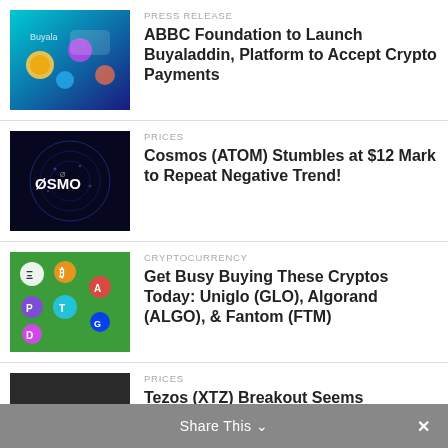[Figure (photo): Buyaladdin app image with colorful icons on teal background]
PRESS RELEASE
ABBC Foundation to Launch Buyaladdin, Platform to Accept Crypto Payments
[Figure (photo): Cosmos OSMO cryptocurrency logo on dark blue globe background]
PRICES
Cosmos (ATOM) Stumbles at $12 Mark to Repeat Negative Trend!
[Figure (photo): Various cryptocurrency coin icons on green background]
CRYPTOCURRENCY
Get Busy Buying These Cryptos Today: Uniglo (GLO), Algorand (ALGO), & Fantom (FTM)
[Figure (photo): Hand holding a gold Tezos coin]
PRICES
Tezos (XTZ) Breakout Seems Imminent If It Crosses $1.97
Share This